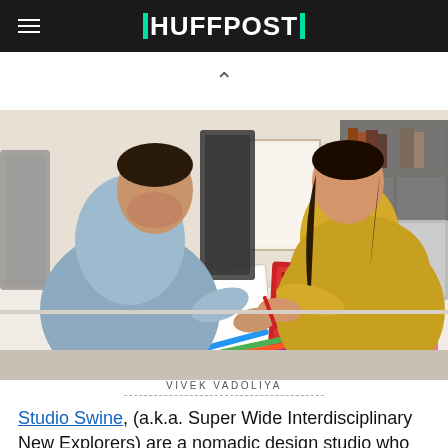HUFFPOST
[Figure (photo): Two people working at a desk: a man in a light blue shirt writing in a notebook on the left, and a woman in a yellow patterned dress using a red keyboard/laptop on the right. The desk has colored pens, sticky notes, and other office items. A shelving unit is visible in the background.]
VIVEK VADOLIYA
Studio Swine, (a.k.a. Super Wide Interdisciplinary New Explorers) are a nomadic design studio who